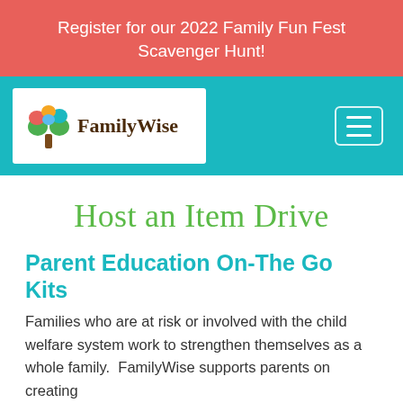Register for our 2022 Family Fun Fest Scavenger Hunt!
[Figure (logo): FamilyWise logo with colorful tree and serif text]
Host an Item Drive
Parent Education On-The Go Kits
Families who are at risk or involved with the child welfare system work to strengthen themselves as a whole family.  FamilyWise supports parents on creating a safe, nurturing, and stable home environment free of drug and
Translate »